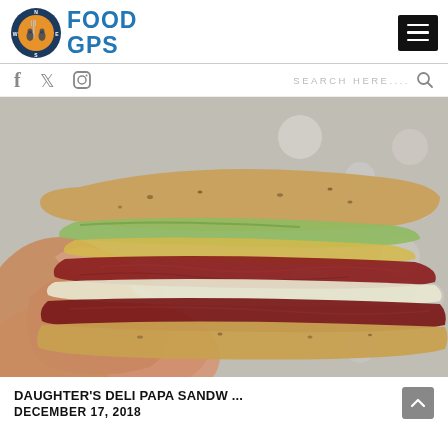FOOD GPS
[Figure (logo): Food GPS logo with compass and fork/people icon in circle, blue FOOD GPS text]
[Figure (photo): Close-up of a hand holding a large deli sandwich with pastrami/corned beef, lettuce, mustard on seeded bread, with blurred pebble background]
DAUGHTER'S DELI PAPA SANDW ...
DECEMBER 17, 2018